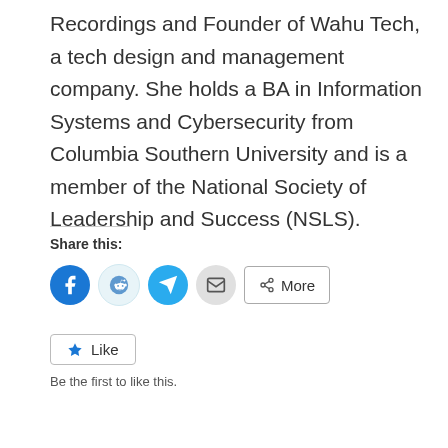Recordings and Founder of Wahu Tech, a tech design and management company. She holds a BA in Information Systems and Cybersecurity from Columbia Southern University and is a member of the National Society of Leadership and Success (NSLS).
Share this:
[Figure (other): Social share buttons: Facebook (blue circle), Reddit (light blue circle), Telegram (blue circle), Email (grey circle), and a More button with share icon]
[Figure (other): Like button with star icon and text 'Like']
Be the first to like this.